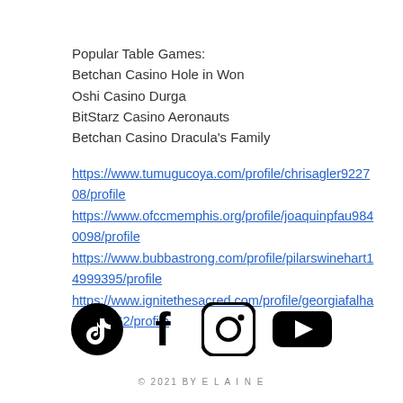Popular Table Games:
Betchan Casino Hole in Won
Oshi Casino Durga
BitStarz Casino Aeronauts
Betchan Casino Dracula's Family
https://www.tumugucoya.com/profile/chrisagler922708/profile
https://www.ofccmemphis.org/profile/joaquinpfau9840098/profile
https://www.bubbastrong.com/profile/pilarswinehart14999395/profile
https://www.ignitethesacred.com/profile/georgiafalha19592062/profile
[Figure (other): Four social media icons: TikTok, Facebook, Instagram, YouTube]
© 2021 BY E L A I N E